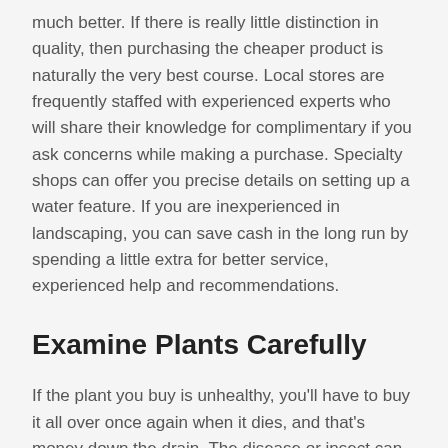much better. If there is really little distinction in quality, then purchasing the cheaper product is naturally the very best course. Local stores are frequently staffed with experienced experts who will share their knowledge for complimentary if you ask concerns while making a purchase. Specialty shops can offer you precise details on setting up a water feature. If you are inexperienced in landscaping, you can save cash in the long run by spending a little extra for better service, experienced help and recommendations.
Examine Plants Carefully
If the plant you buy is unhealthy, you'll have to buy it all over once again when it dies, and that's money down the drain. The disease or insect can spread out to your other landscaping.
Buy When Prices Are Low